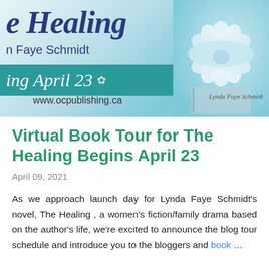[Figure (illustration): Book banner for 'The Healing' by Lynda Faye Schmidt. Teal and light blue background with a lotus flower image on the right side, large italic title text 'e Healing' (partially cropped), author name 'n Faye Schmidt', a teal bar reading 'ing April 23' with lotus icon, and URL www.ocpublishing.ca. Author signature 'Lynda Faye Schmidt' in bottom right.]
Virtual Book Tour for The Healing Begins April 23
April 09, 2021
As we approach launch day for Lynda Faye Schmidt's novel, The Healing , a women's fiction/family drama based on the author's life, we're excited to announce the blog tour schedule and introduce you to the bloggers and book ...